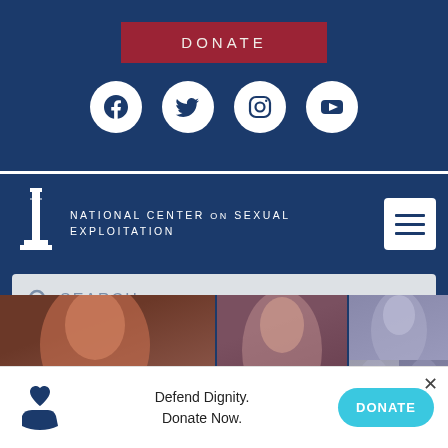DONATE
[Figure (illustration): Social media icons: Facebook, Twitter, Instagram, YouTube]
[Figure (logo): National Center on Sexual Exploitation logo with column icon and text: NATIONAL CENTER on SEXUAL EXPLOITATION, with hamburger menu icon]
SEARCH...
[Figure (photo): Collage of diverse people including a smiling Black man, a smiling woman, a man with glasses, and two other people]
Defend Dignity. Donate Now.
DONATE